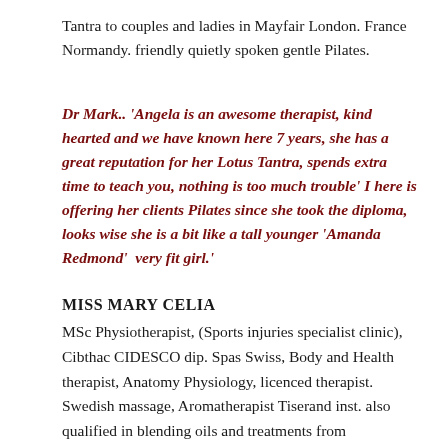Tantra to couples and ladies in Mayfair London. France Normandy. friendly quietly spoken gentle Pilates.
Dr Mark.. 'Angela is an awesome therapist, kind hearted and we have known here 7 years, she has a great reputation for her Lotus Tantra, spends extra time to teach you, nothing is too much trouble' I here is offering her clients Pilates since she took the diploma,  looks wise she is a bit like a tall younger 'Amanda Redmond'  very fit girl.'
MISS MARY CELIA
MSc Physiotherapist, (Sports injuries specialist clinic), Cibthac CIDESCO dip. Spas Swiss, Body and Health therapist, Anatomy Physiology, licenced therapist. Swedish massage, Aromatherapist Tiserand inst. also qualified in blending oils and treatments from switzerland and uses some of the latests oils and creams for both men and ladies. Shiatso Dip. Tuina. Ayurveda